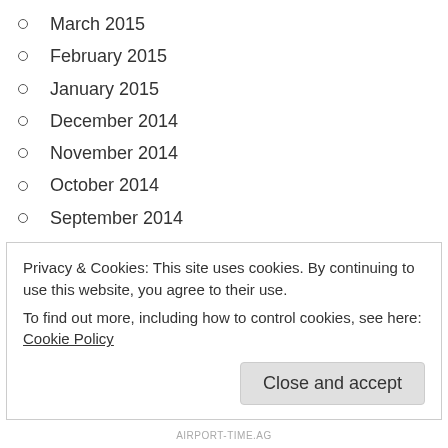March 2015
February 2015
January 2015
December 2014
November 2014
October 2014
September 2014
August 2014
July 2014
June 2014
May 2014
April 2014
Privacy & Cookies: This site uses cookies. By continuing to use this website, you agree to their use.
To find out more, including how to control cookies, see here: Cookie Policy
AIRPORT-TIME.AG